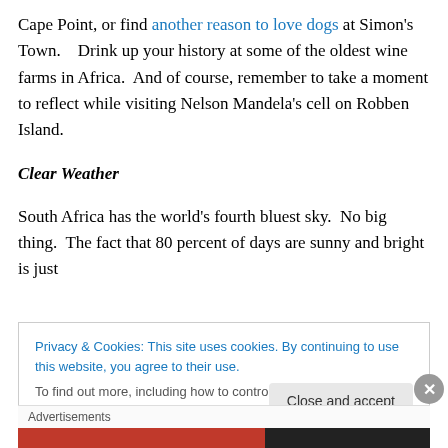Cape Point, or find another reason to love dogs at Simon's Town.    Drink up your history at some of the oldest wine farms in Africa.  And of course, remember to take a moment to reflect while visiting Nelson Mandela's cell on Robben Island.
Clear Weather
South Africa has the world's fourth bluest sky.  No big thing.  The fact that 80 percent of days are sunny and bright is just
Privacy & Cookies: This site uses cookies. By continuing to use this website, you agree to their use.
To find out more, including how to control cookies, see here: Cookie Policy
Close and accept
Advertisements